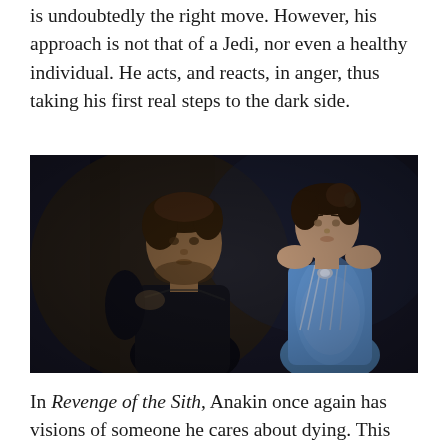is undoubtedly the right move. However, his approach is not that of a Jedi, nor even a healthy individual. He acts, and reacts, in anger, thus taking his first real steps to the dark side.
[Figure (photo): Movie still from Star Wars showing Anakin Skywalker (dark-haired young man in dark clothing) and Padmé Amidala (young woman in blue dress with silver embellishments) in a dramatic scene with dark background.]
In Revenge of the Sith, Anakin once again has visions of someone he cares about dying. This time it is his wife, Padmé , dying in childbirth. Anakin tries to